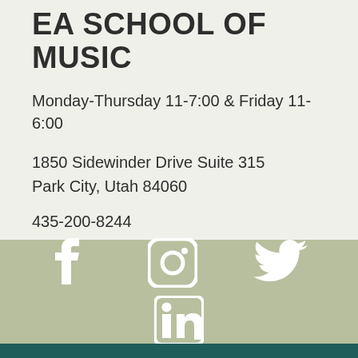EA SCHOOL OF MUSIC
Monday-Thursday 11-7:00 & Friday 11-6:00
1850 Sidewinder Drive Suite 315
Park City, Utah 84060
435-200-8244
[Figure (infographic): Social media icons: Facebook, Instagram, Twitter, LinkedIn on a sage green background]